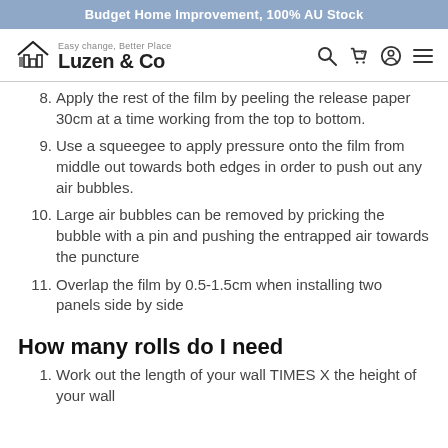Budget Home Improvement, 100% AU Stock
[Figure (logo): Luzen & Co logo with house icon and tagline 'Easy change, Better Place']
8. Apply the rest of the film by peeling the release paper 30cm at a time working from the top to bottom.
9. Use a squeegee to apply pressure onto the film from middle out towards both edges in order to push out any air bubbles.
10. Large air bubbles can be removed by pricking the bubble with a pin and pushing the entrapped air towards the puncture
11. Overlap the film by 0.5-1.5cm when installing two panels side by side
How many rolls do I need
1. Work out the length of your wall TIMES X the height of your wall